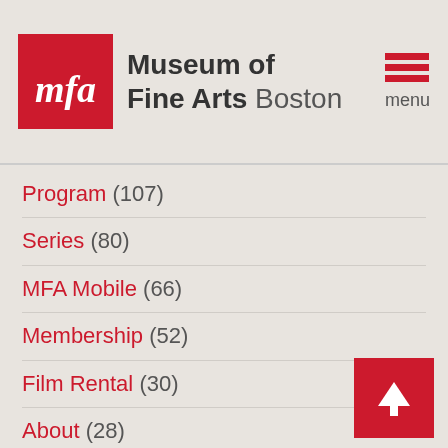Museum of Fine Arts Boston
Program (107)
Series (80)
MFA Mobile (66)
Membership (52)
Film Rental (30)
About (28)
Page (28)
Staff Position (27)
Beyond the Gallery (8)
Traveling Exhibition (8)
Video Rental (4)